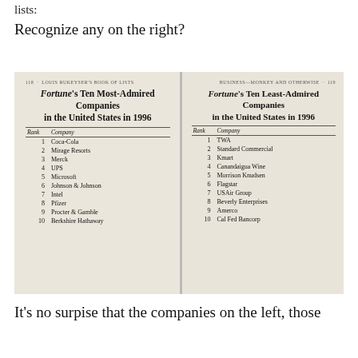lists:
Recognize any on the right?
[Figure (photo): A photograph of an open book showing two pages from Louis Rukeyser's Book of Lists. The left page (p.118) lists Fortune's Ten Most-Admired Companies in the United States in 1996. The right page (p.119) lists Fortune's Ten Least-Admired Companies in the United States in 1996.]
| Rank | Company |
| --- | --- |
| 1 | Coca-Cola |
| 2 | Mirage Resorts |
| 3 | Merck |
| 4 | UPS |
| 5 | Microsoft |
| 6 | Johnson & Johnson |
| 7 | Intel |
| 8 | Pfizer |
| 9 | Procter & Gamble |
| 10 | Berkshire Hathaway |
| Rank | Company |
| --- | --- |
| 1 | TWA |
| 2 | Standard Commercial |
| 3 | Kmart |
| 4 | Canandaigua Wine |
| 5 | Morrison Knudsen |
| 6 | Flagstar |
| 7 | USAir Group |
| 8 | Beverly Enterprises |
| 9 | Amerco |
| 10 | Cal Fed Bancorp |
It's no surpise that the companies on the left, those